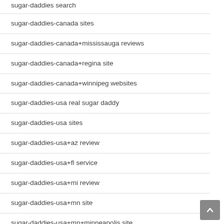sugar-daddies search
sugar-daddies-canada sites
sugar-daddies-canada+mississauga reviews
sugar-daddies-canada+regina site
sugar-daddies-canada+winnipeg websites
sugar-daddies-usa real sugar daddy
sugar-daddies-usa sites
sugar-daddies-usa+az review
sugar-daddies-usa+fl service
sugar-daddies-usa+mi review
sugar-daddies-usa+mn site
sugar-daddies-usa+mn+minneapolis site
sugar-daddies-usa+mo+st-louis service